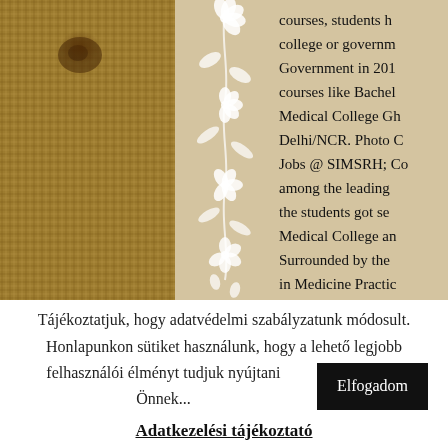[Figure (photo): Burlap textile texture photograph, brown woven fabric with visible weave pattern and a dark spot.]
[Figure (illustration): Decorative white floral vine illustration on beige/tan background, running vertically with flowers and leaves.]
courses, students h college or governm Government in 201 courses like Bachel Medical College Gh Delhi/NCR. Photo C Jobs @ SIMSRH; Co among the leading the students got se Medical College an Surrounded by the in Medicine Practic Shiksha.com you ca
Tájékoztatjuk, hogy adatvédelmi szabályzatunk módosult. Honlapunkon sütiket használunk, hogy a lehető legjobb felhasználói élményt tudjuk nyújtani Önnek...
Elfogadom
Adatkezelési tájékoztató